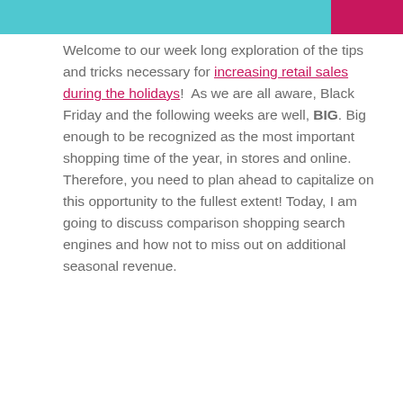[Figure (illustration): Decorative header bar with teal/cyan background and magenta/pink accent on the right side]
Welcome to our week long exploration of the tips and tricks necessary for increasing retail sales during the holidays!  As we are all aware, Black Friday and the following weeks are well, BIG. Big enough to be recognized as the most important shopping time of the year, in stores and online. Therefore, you need to plan ahead to capitalize on this opportunity to the fullest extent! Today, I am going to discuss comparison shopping search engines and how not to miss out on additional seasonal revenue.